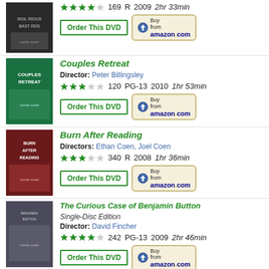[Figure (photo): Inglourious Basterds DVD cover]
★★★★☆ 169  R  2009  2hr 33min
Order This DVD | Buy from amazon.com
[Figure (photo): Couples Retreat DVD cover]
Couples Retreat
Director: Peter Billingsley
★★★☆☆ 120  PG-13  2010  1hr 53min
Order This DVD | Buy from amazon.com
[Figure (photo): Burn After Reading DVD cover]
Burn After Reading
Directors: Ethan Coen, Joel Coen
★★★☆☆ 340  R  2008  1hr 36min
Order This DVD | Buy from amazon.com
[Figure (photo): The Curious Case of Benjamin Button DVD cover]
The Curious Case of Benjamin Button
Single-Disc Edition
Director: David Fincher
★★★★☆ 242  PG-13  2009  2hr 46min
Order This DVD | Buy from amazon.com